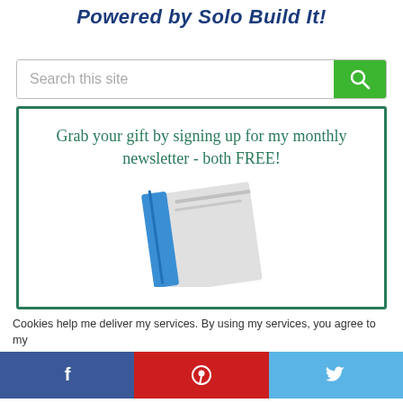Powered by Solo Build It!
[Figure (screenshot): Search bar with green search button and magnifying glass icon]
Grab your gift by signing up for my monthly newsletter - both FREE!
[Figure (illustration): Partial illustration of a book/binder with blue and grey colors]
Cookies help me deliver my services. By using my services, you agree to my
[Figure (infographic): Social media sharing bar with Facebook, Pinterest, and Twitter buttons]